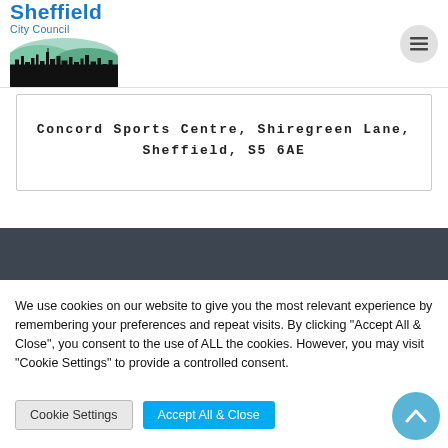Sheffield City Council
Concord Sports Centre, Shiregreen Lane, Sheffield, S5 6AE
We use cookies on our website to give you the most relevant experience by remembering your preferences and repeat visits. By clicking "Accept All & Close", you consent to the use of ALL the cookies. However, you may visit "Cookie Settings" to provide a controlled consent.